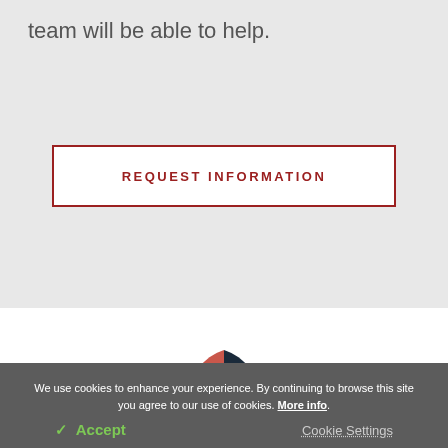team will be able to help.
REQUEST INFORMATION
[Figure (logo): Partial circular logo visible at bottom, red and dark navy segments]
We use cookies to enhance your experience. By continuing to browse this site you agree to our use of cookies. More info.
✓ Accept
Cookie Settings